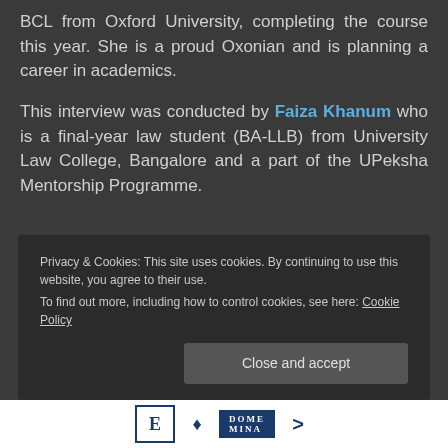BCL from Oxford University, completing the course this year. She is a proud Oxonian and is planning a career in academics.
This interview was conducted by Faiza Khanum who is a final-year law student (BA-LLB) from University Law College, Bangalore and a part of the UPeksha Mentorship Programme.
Privacy & Cookies: This site uses cookies. By continuing to use this website, you agree to their use.
To find out more, including how to control cookies, see here: Cookie Policy
[Figure (other): Bottom strip with logos including text elements resembling publication logos]